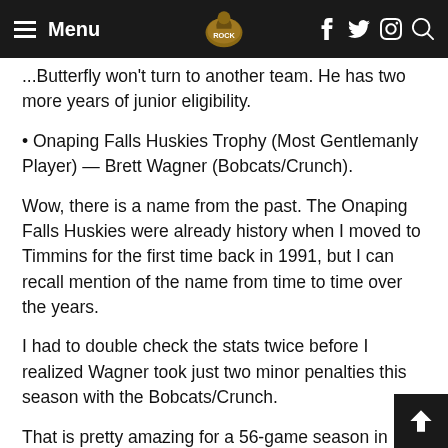Menu [navigation bar with logo and social icons]
...Butterfly won't turn to another team. He has two more years of junior eligibility.
• Onaping Falls Huskies Trophy (Most Gentlemanly Player) — Brett Wagner (Bobcats/Crunch).
Wow, there is a name from the past. The Onaping Falls Huskies were already history when I moved to Timmins for the first time back in 1991, but I can recall mention of the name from time to time over the years.
I had to double check the stats twice before I realized Wagner took just two minor penalties this season with the Bobcats/Crunch.
That is pretty amazing for a 56-game season in which the right winger played every game.
It is even more amazing when you consider Wagner... 41-33-74-4) ... the Bobcats/Crunch leading...